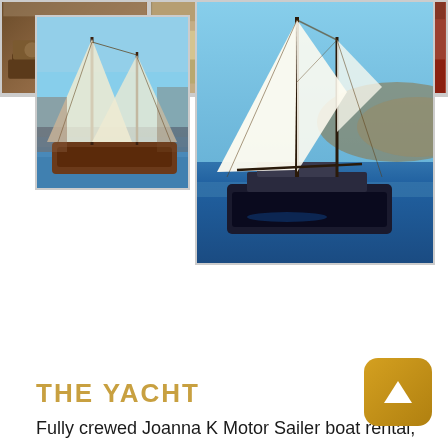[Figure (photo): Three interior photos of a yacht cabin showing a desk/study area, bedroom with cushioned seating, and a cabin with red carpet]
[Figure (photo): Small sailing yacht with wooden hull and multiple masts docked in harbor]
[Figure (photo): Large dark-hulled motor sailer yacht under sail with white sails billowing, sailing on blue water]
THE YACHT
Fully crewed Joanna K Motor Sailer boat rental, available for exclusive yacht charter in Greece, the best sailing holidays & vacation in the